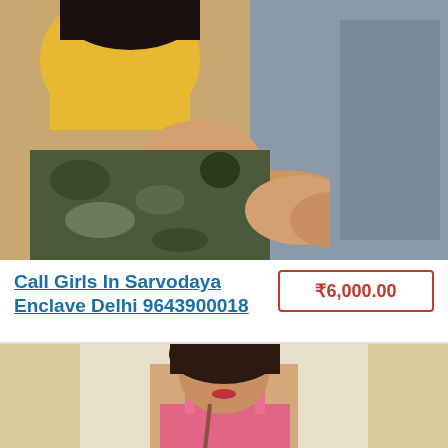[Figure (photo): Photo of a person wearing a yellow top and camouflage skirt, seated on a gray sofa, hands clasped together on lap.]
Call Girls In Sarvodaya Enclave Delhi 9643900018
₹6,000.00
[Figure (photo): Photo of a person with dark hair wearing a pink outfit, standing near light-colored curtains.]